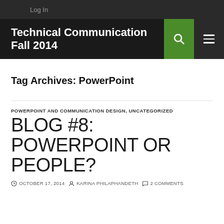Log In
Technical Communication Fall 2014
Tag Archives: PowerPoint
POWERPOINT AND COMMUNICATION DESIGN, UNCATEGORIZED
BLOG #8: POWERPOINT OR PEOPLE?
OCTOBER 17, 2014  KARINA PHILAPHANDETH  2 COMMENTS